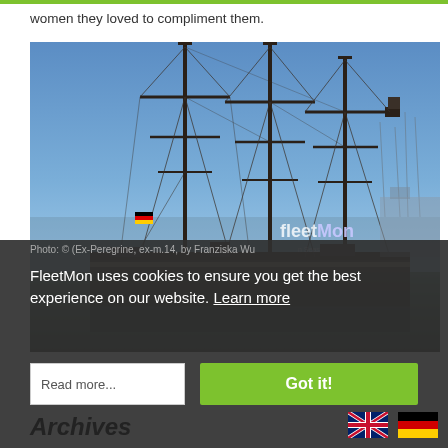women they loved to compliment them.
[Figure (photo): A tall ship with three masts docked in a harbor with blue sky background. FleetMon watermark visible in bottom right of image.]
Photo: © (Ex-Peregrine, ex-m.14, by Franziska Wu
FleetMon uses cookies to ensure you get the best experience on our website. Learn more
Got it!
Read more...
Archives